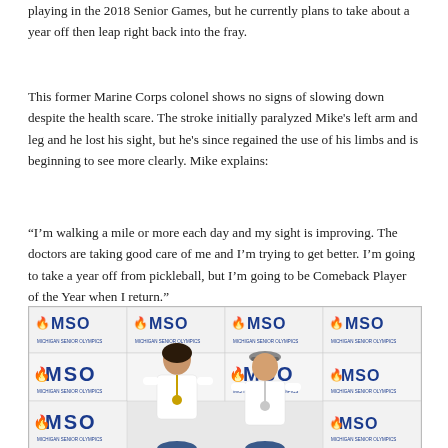playing in the 2018 Senior Games, but he currently plans to take about a year off then leap right back into the fray.
This former Marine Corps colonel shows no signs of slowing down despite the health scare. The stroke initially paralyzed Mike's left arm and leg and he lost his sight, but he's since regained the use of his limbs and is beginning to see more clearly. Mike explains:
“I’m walking a mile or more each day and my sight is improving. The doctors are taking good care of me and I’m trying to get better. I’m going to take a year off from pickleball, but I’m going to be Comeback Player of the Year when I return.”
[Figure (photo): Two people posing in front of a repeating MSO (Michigan Senior Olympics) branded backdrop. Both are wearing white athletic shirts and medals. The woman is on the left with short dark hair, the man is on the right wearing a cap.]